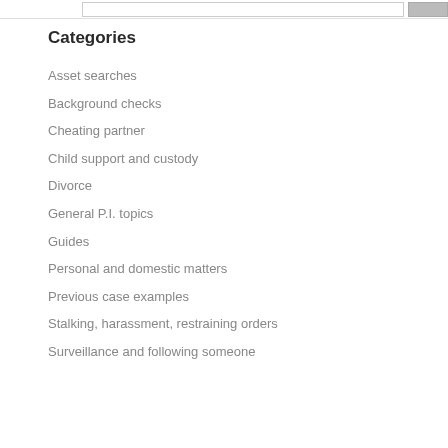Categories
Asset searches
Background checks
Cheating partner
Child support and custody
Divorce
General P.I. topics
Guides
Personal and domestic matters
Previous case examples
Stalking, harassment, restraining orders
Surveillance and following someone